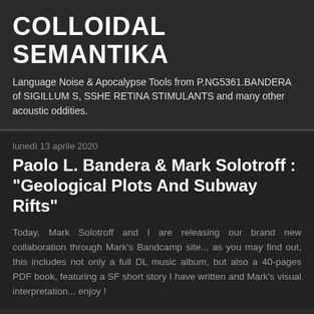COLLOIDAL SEMANTIKA
Language Noise & Apocalypse Tools from P.NG5361.BANDERA of SIGILLUM S, SSHE RETINA STIMULANTS and many other acoustic oddities.
lunedì 13 aprile 2020
Paolo L. Bandera & Mark Solotroff : "Geological Plots And Subway Rifts"
Today, Mark Solotroff and I are releasing our brand new collaboration through Mark's Bandcamp site... as you may find out, this includes not only a full DL music album, but also a 40-pages PDF book, featuring a SF short story I have written and Mark's visual interpretation... enjoy !